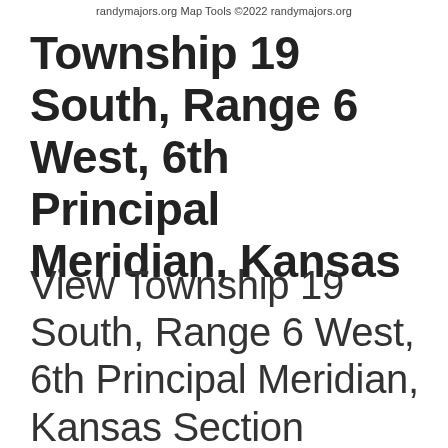randymajors.org Map Tools ©2022 randymajors.org
Township 19 South, Range 6 West, 6th Principal Meridian, Kansas
View Township 19 South, Range 6 West, 6th Principal Meridian, Kansas Section Township Range map on Google Maps • Free township and range locator searches by address, place or...